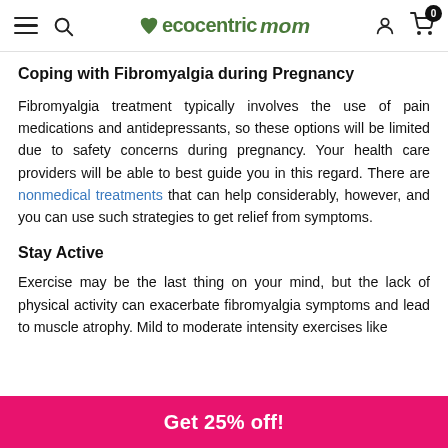ecocentric mom — navigation header with hamburger, search, logo, user, and cart icons
Coping with Fibromyalgia during Pregnancy
Fibromyalgia treatment typically involves the use of pain medications and antidepressants, so these options will be limited due to safety concerns during pregnancy. Your health care providers will be able to best guide you in this regard. There are nonmedical treatments that can help considerably, however, and you can use such strategies to get relief from symptoms.
Stay Active
Exercise may be the last thing on your mind, but the lack of physical activity can exacerbate fibromyalgia symptoms and lead to muscle atrophy. Mild to moderate intensity exercises like
Get 25% off!